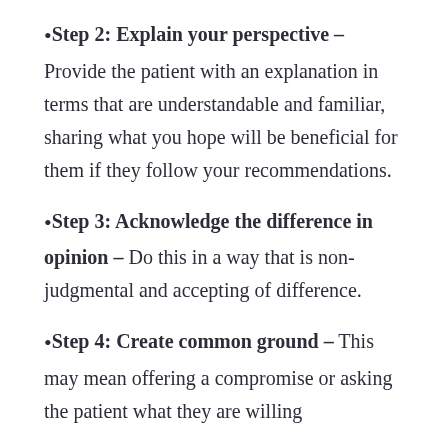Step 2: Explain your perspective – Provide the patient with an explanation in terms that are understandable and familiar, sharing what you hope will be beneficial for them if they follow your recommendations.
Step 3: Acknowledge the difference in opinion – Do this in a way that is non-judgmental and accepting of difference.
Step 4: Create common ground – This may mean offering a compromise or asking the patient what they are willing to do. The preferences and values of the...